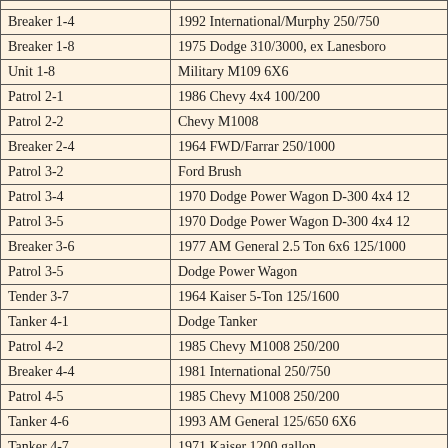| Unit | Description |
| --- | --- |
| Breaker 1-4 | 1992 International/Murphy 250/750 |
| Breaker 1-8 | 1975 Dodge 310/3000, ex Lanesboro |
| Unit 1-8 | Military M109 6X6 |
| Patrol 2-1 | 1986 Chevy 4x4 100/200 |
| Patrol 2-2 | Chevy M1008 |
| Breaker 2-4 | 1964 FWD/Farrar 250/1000 |
| Patrol 3-2 | Ford Brush |
| Patrol 3-4 | 1970 Dodge Power Wagon D-300 4x4 12 |
| Patrol 3-5 | 1970 Dodge Power Wagon D-300 4x4 12 |
| Breaker 3-6 | 1977 AM General 2.5 Ton 6x6 125/1000 |
| Patrol 3-5 | Dodge Power Wagon |
| Tender 3-7 | 1964 Kaiser 5-Ton 125/1600 |
| Tanker 4-1 | Dodge Tanker |
| Patrol 4-2 | 1985 Chevy M1008 250/200 |
| Breaker 4-4 | 1981 International 250/750 |
| Patrol 4-5 | 1985 Chevy M1008 250/200 |
| Tanker 4-6 | 1993 AM General 125/650 6X6 |
| Tanker 4-7 | 1971 Kaiser 1200 gallon |
| Tanker 4-8 | 1980 Mack MC 500/3000 (ex Plainville) |